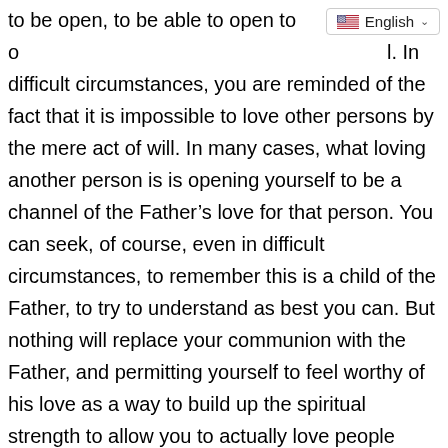[Figure (screenshot): Language selector UI element showing US flag and 'English' label with dropdown chevron]
to be open, to be able to open to o[ther]. In difficult circumstances, you are reminded of the fact that it is impossible to love other persons by the mere act of will. In many cases, what loving another person is is opening yourself to be a channel of the Father's love for that person. You can seek, of course, even in difficult circumstances, to remember this is a child of the Father, to try to understand as best you can. But nothing will replace your communion with the Father, and permitting yourself to feel worthy of his love as a way to build up the spiritual strength to allow you to actually love people when you are faced with those difficult decisions and difficult situations. Is this any help?

Mark: Yeah. The mere fact that I can look at somebody and not